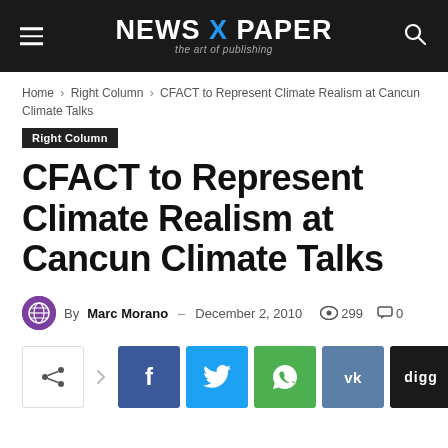NEWS X PAPER – the art of publishing
Home › Right Column › CFACT to Represent Climate Realism at Cancun Climate Talks
Right Column
CFACT to Represent Climate Realism at Cancun Climate Talks
By Marc Morano – December 2, 2010  299  0
[Figure (other): Social share buttons row: share icon, Facebook, Twitter, WhatsApp, VK, Digg]